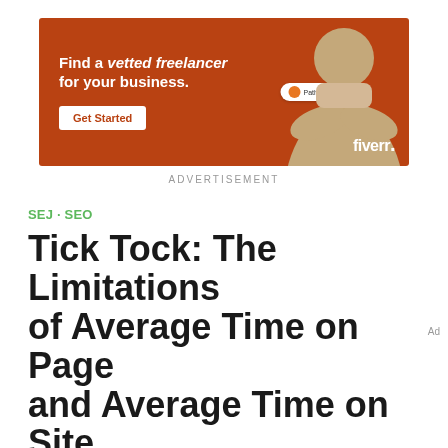[Figure (illustration): Fiverr advertisement banner with orange/brown background. Text reads 'Find a vetted freelancer for your business.' with a Get Started button, a woman photo, and Fiverr logo.]
ADVERTISEMENT
SEJ · SEO
Tick Tock: The Limitations of Average Time on Page and Average Time on Site in Google Analytics [EXPERIMENT]
Glenn Gabe